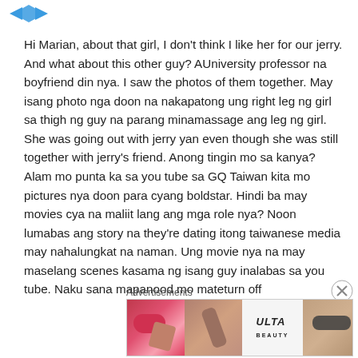[Figure (logo): Blue arrow/logo icon in top left]
Hi Marian, about that girl, I don't think I like her for our jerry. And what about this other guy? AUniversity professor na boyfriend din nya. I saw the photos of them together. May isang photo nga doon na nakapatong ung right leg ng girl sa thigh ng guy na parang minamassage ang leg ng girl. She was going out with jerry yan even though she was still together with jerry's friend. Anong tingin mo sa kanya? Alam mo punta ka sa you tube sa GQ Taiwan kita mo pictures nya doon para cyang boldstar. Hindi ba may movies cya na maliit lang ang mga role nya? Noon lumabas ang story na they're dating itong taiwanese media may nahalungkat na naman. Ung movie nya na may maselang scenes kasama ng isang guy inalabas sa you tube. Naku sana mapanood mo mateturn off
Advertisements
[Figure (illustration): Ulta beauty advertisement banner with makeup imagery and SHOP NOW text]